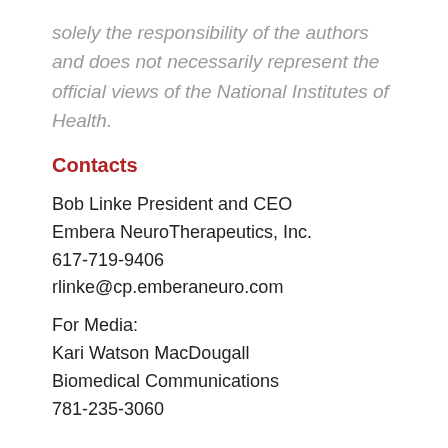solely the responsibility of the authors and does not necessarily represent the official views of the National Institutes of Health.
Contacts
Bob Linke President and CEO
Embera NeuroTherapeutics, Inc.
617-719-9406
rlinke@cp.emberaneuro.com
For Media:
Kari Watson MacDougall
Biomedical Communications
781-235-3060